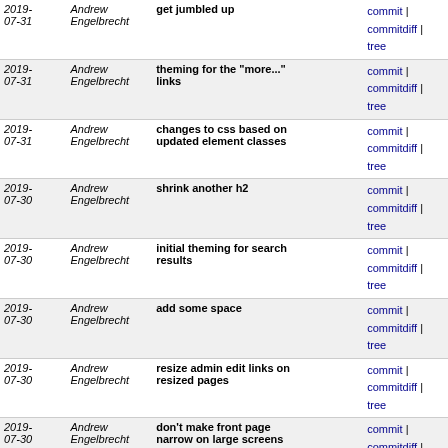| Date | Author | Commit message | Links |
| --- | --- | --- | --- |
| 2019-07-31 | Andrew Engelbrecht | get jumbled up | commit | commitdiff | tree |
| 2019-07-31 | Andrew Engelbrecht | theming for the "more..." links | commit | commitdiff | tree |
| 2019-07-31 | Andrew Engelbrecht | changes to css based on updated element classes | commit | commitdiff | tree |
| 2019-07-30 | Andrew Engelbrecht | shrink another h2 | commit | commitdiff | tree |
| 2019-07-30 | Andrew Engelbrecht | initial theming for search results | commit | commitdiff | tree |
| 2019-07-30 | Andrew Engelbrecht | add some space | commit | commitdiff | tree |
| 2019-07-30 | Andrew Engelbrecht | resize admin edit links on resized pages | commit | commitdiff | tree |
| 2019-07-30 | Andrew Engelbrecht | don't make front page narrow on large screens | commit | commitdiff | tree |
| 2019-07-30 | Andrew Engelbrecht | condensed css rules, added a margin to a div | commit | commitdiff | tree |
| 2019-07-30 | Andrew Engelbrecht | put each css selector on its own line | commit | commitdiff | tree |
| 2019-07-30 | Andrew Engelbrecht | added theming for news items | commit | commitdiff | tree |
| 2019-07-30 | Andrew Engelbrecht | tweaked feed links margin | commit | commitdiff | tree |
| 2019-07-30 | Andrew Engelbrecht | color adjustment to extra images block | commit | commitdiff | tree |
| 2019-07-30 | Andrew Engelbrecht | updated colors of vendor / categories blocks | commit | commitdiff | tree |